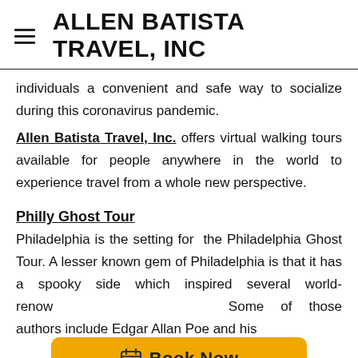ALLEN BATISTA TRAVEL, INC
individuals a convenient and safe way to socialize during this coronavirus pandemic.
Allen Batista Travel, Inc. offers virtual walking tours available for people anywhere in the world to experience travel from a whole new perspective.
Philly Ghost Tour
Philadelphia is the setting for the Philadelphia Ghost Tour. A lesser known gem of Philadelphia is that it has a spooky side which inspired several world-renowned authors. Some of those authors include Edgar Allan Poe and his
[Figure (other): Book Now button overlay with calendar-check icon on an orange/amber background]